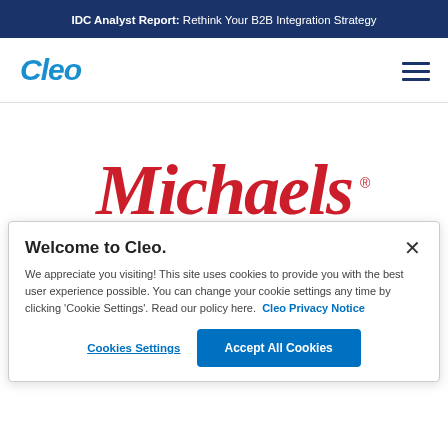IDC Analyst Report: Rethink Your B2B Integration Strategy
[Figure (logo): Cleo company logo in blue italic font]
[Figure (logo): Michaels logo in red cursive script with tagline MAKE CREATIVITY HAPPEN]
Welcome to Cleo.
We appreciate you visiting! This site uses cookies to provide you with the best user experience possible. You can change your cookie settings any time by clicking 'Cookie Settings'. Read our policy here. Cleo Privacy Notice
Cookies Settings
Accept All Cookies